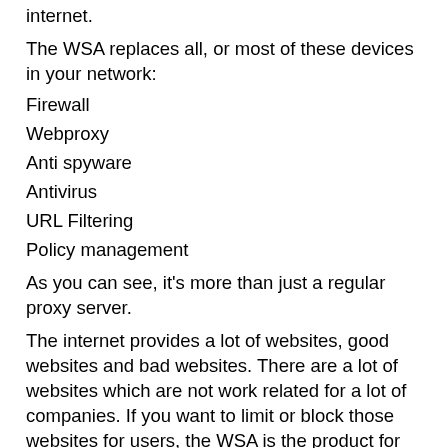internet.
The WSA replaces all, or most of these devices in your network:
Firewall
Webproxy
Anti spyware
Antivirus
URL Filtering
Policy management
As you can see, it’s more than just a regular proxy server.
The internet provides a lot of websites, good websites and bad websites. There are a lot of websites which are not work related for a lot of companies. If you want to limit or block those websites for users, the WSA is the product for you. Limitation can be time based, bandwidth based, user based or category based (79 categories). Road warriors (remote users) can be